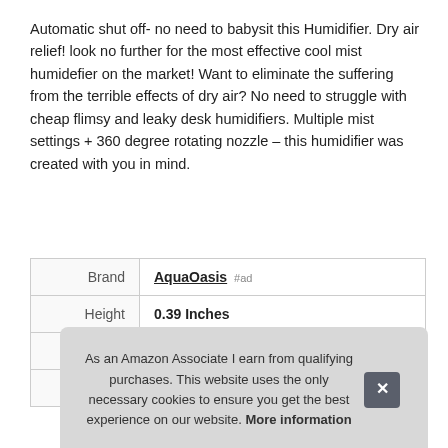Automatic shut off- no need to babysit this Humidifier. Dry air relief! look no further for the most effective cool mist humidefier on the market! Want to eliminate the suffering from the terrible effects of dry air? No need to struggle with cheap flimsy and leaky desk humidifiers. Multiple mist settings + 360 degree rotating nozzle – this humidifier was created with you in mind.
|  |  |
| --- | --- |
| Brand | AquaOasis #ad |
| Height | 0.39 Inches |
| Length | 0.39 Inches |
| P |  |
As an Amazon Associate I earn from qualifying purchases. This website uses the only necessary cookies to ensure you get the best experience on our website. More information